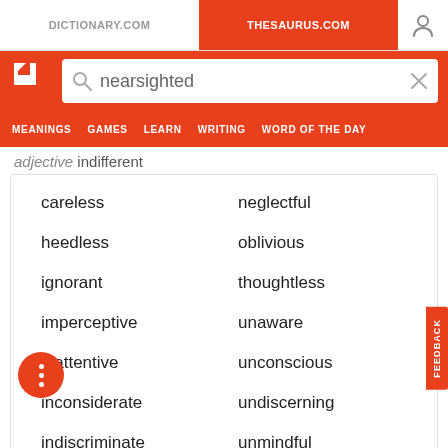DICTIONARY.COM | THESAURUS.COM
[Figure (screenshot): Thesaurus.com website header with logo and search bar containing 'nearsighted']
adjective indifferent
careless
neglectful
heedless
oblivious
ignorant
thoughtless
imperceptive
unaware
inattentive
unconscious
inconsiderate
undiscerning
indiscriminate
unmindful